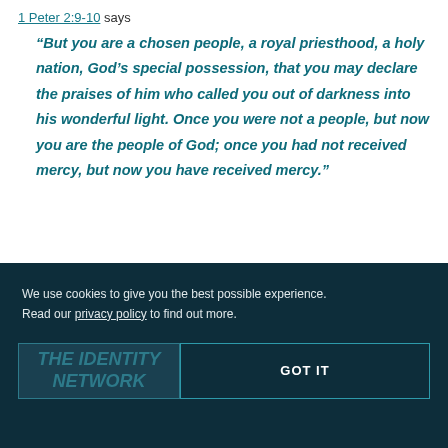1 Peter 2:9-10 says
“But you are a chosen people, a royal priesthood, a holy nation, God’s special possession, that you may declare the praises of him who called you out of darkness into his wonderful light. Once you were not a people, but now you are the people of God; once you had not received mercy, but now you have received mercy.”
We use cookies to give you the best possible experience. Read our privacy policy to find out more.
GOT IT